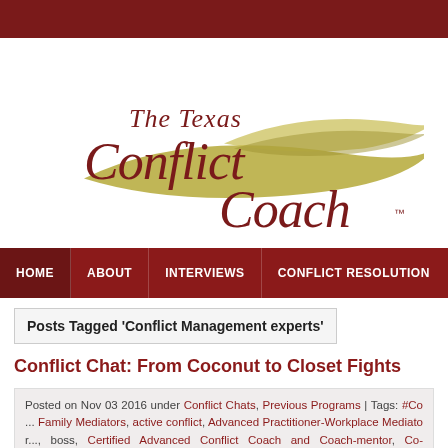[Figure (logo): The Texas Conflict Coach logo with dark red cursive text and olive/gold decorative swoosh graphic]
HOME | ABOUT | INTERVIEWS | CONFLICT RESOLUTION
Posts Tagged 'Conflict Management experts'
Conflict Chat: From Coconut to Closet Fights
Posted on Nov 03 2016 under Conflict Chats, Previous Programs | Tags: #Co... Family Mediators, active conflict, Advanced Practitioner-Workplace Mediator... boss, Certified Advanced Conflict Coach and Coach-mentor, Co-Workers, con... Management Coaching, Conflict Management experts, Cooperative proble... neighbors, John Haynes Distinguished Mediator Award, Kumba Award, Lawy... Training & Consultation Institute, mediator, mediators, Michigan Lifetime... Conference on Minorities, National Education Association/Saturn Corporatio...